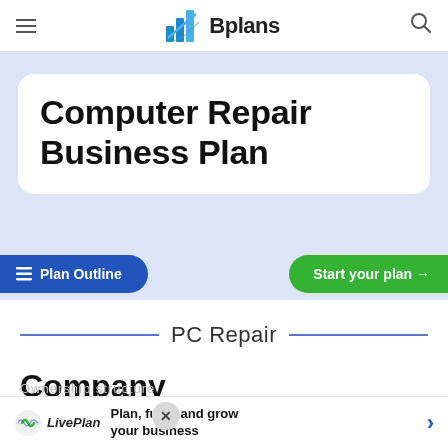Bplans
Computer Repair Business Plan
Plan Outline
Start your plan →
PC Repair
Company Overview
Plan, fund, and grow your business